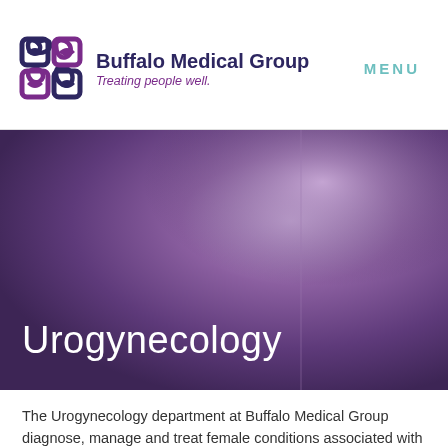[Figure (logo): Buffalo Medical Group logo with Celtic knot icon, name in dark navy bold, tagline 'Treating people well.' in purple italic]
MENU
[Figure (photo): Purple gradient hero background image with soft lighting and architectural blur]
Urogynecology
The Urogynecology department at Buffalo Medical Group diagnose, manage and treat female conditions associated with dysfunction of the pelvic floor and bladder. Our department consists of a Urologist and